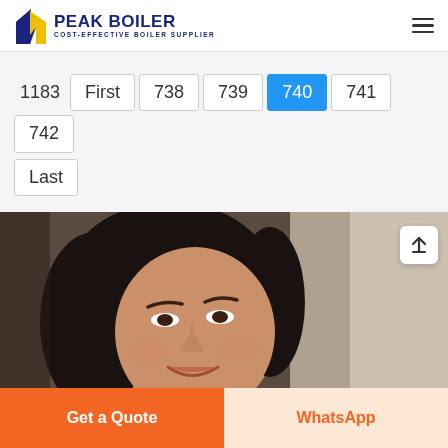PEAK BOILER — COST-EFFECTIVE BOILER SUPPLIER
1183  First  738  739  740  741  742  Last
[Figure (photo): Close-up photo of a smiling woman with dark hair, partial face visible, warm bokeh background]
Get a Quote
WhatsApp